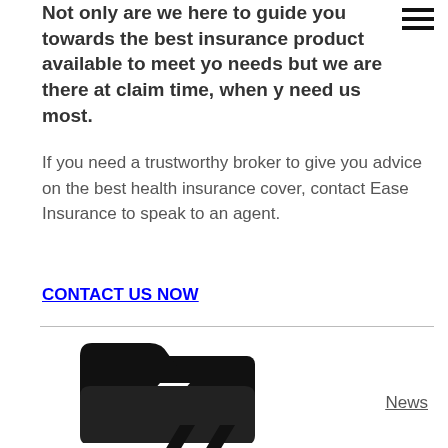Not only are we here to guide you towards the best insurance product available to meet your needs but we are there at claim time, when you need us most.
If you need a trustworthy broker to give you advice on the best health insurance cover, contact Ease Insurance to speak to an agent.
CONTACT US NOW
[Figure (illustration): Black folder icon (open folder) and partial quotation mark icon below]
News